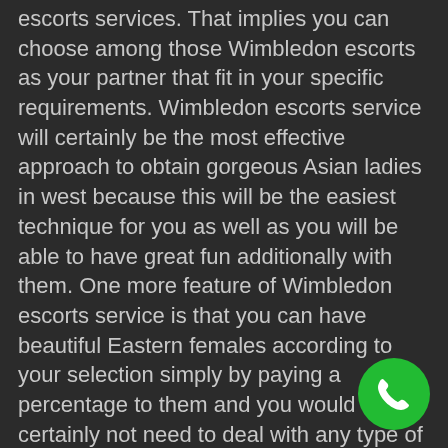escorts services. That implies you can choose among those Wimbledon escorts as your partner that fit in your specific requirements. Wimbledon escorts service will certainly be the most effective approach to obtain gorgeous Asian ladies in west because this will be the easiest technique for you as well as you will be able to have great fun additionally with them. One more feature of Wimbledon escorts service is that you can have beautiful Eastern females according to your selection simply by paying a percentage to them and you would certainly not need to deal with any type of kind of complication in any ways.
Try online dating web sites: To obtain gorgeous Eastern females in the western nations, you can likewise try the on the internet dating websites. With this alternative you will have the ability to meet many beautiful and also actually warm Asian girls in your home town or city. In this choice you will simply
[Figure (other): Green circular phone/call button icon in the bottom-right corner]